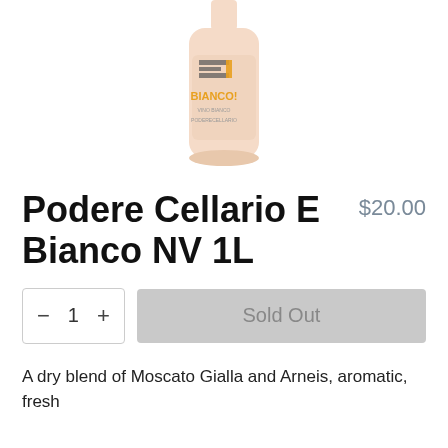[Figure (photo): Wine bottle of Podere Cellario E Bianco, showing label with large 'E' letter and 'BIANCO' text in orange, bottle has a peachy/salmon colored label]
Podere Cellario E Bianco NV 1L
$20.00
− 1 + Sold Out
A dry blend of Moscato Gialla and Arneis, aromatic, fresh